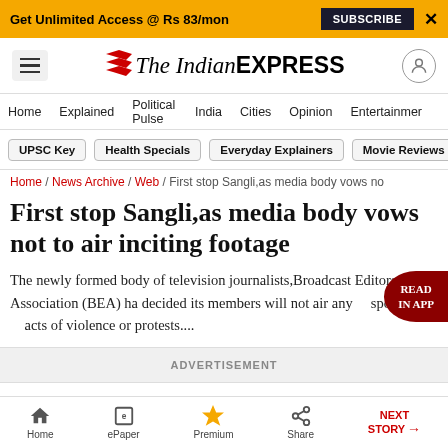Get Unlimited Access @ Rs 83/mon | SUBSCRIBE | X
[Figure (logo): The Indian Express logo with red chevron icon]
Home / Explained / Political Pulse / India / Cities / Opinion / Entertainment
UPSC Key | Health Specials | Everyday Explainers | Movie Reviews
Home / News Archive / Web / First stop Sangli,as media body vows no...
First stop Sangli,as media body vows not to air inciting footage
The newly formed body of television journalists,Broadcast Editors    Association (BEA) ha decided its members will not air any    sponsored    acts of violence or protests....
ADVERTISEMENT
Home | ePaper | Premium | Share | NEXT STORY